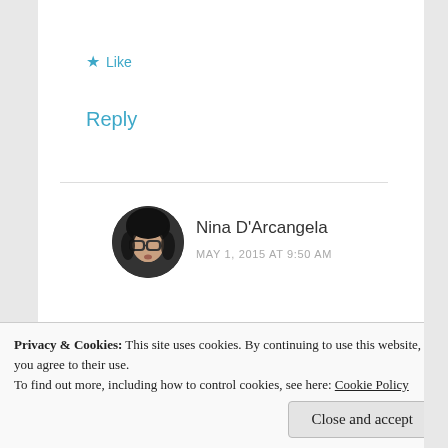★ Like
Reply
Nina D'Arcangela
MAY 1, 2015 AT 9:50 AM
Indeed! Nibble, nibble, nibble!!! 😉
★ Like
Privacy & Cookies: This site uses cookies. By continuing to use this website, you agree to their use.
To find out more, including how to control cookies, see here: Cookie Policy
Close and accept